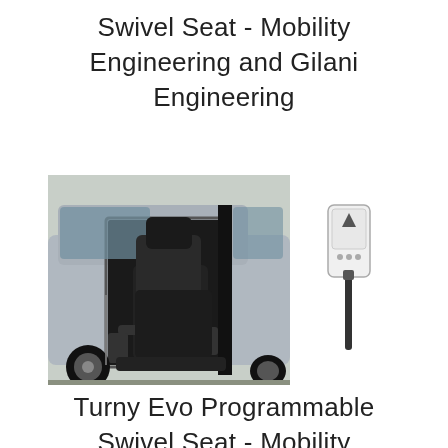Swivel Seat - Mobility Engineering and Gilani Engineering
[Figure (photo): Photo of a swivel car seat extended out of a silver car door on the left, and a handheld remote control device on the right]
Turny Evo Programmable Swivel Seat - Mobility Engineering and Gilani Engineering